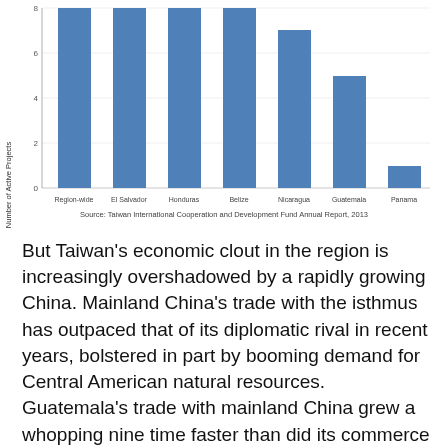[Figure (bar-chart): ]
Source: Taiwan International Cooperation and Development Fund Annual Report, 2013
But Taiwan's economic clout in the region is increasingly overshadowed by a rapidly growing China. Mainland China's trade with the isthmus has outpaced that of its diplomatic rival in recent years, bolstered in part by booming demand for Central American natural resources. Guatemala's trade with mainland China grew a whopping nine time faster than did its commerce with Taiwan over the past decade, to cite a striking example.